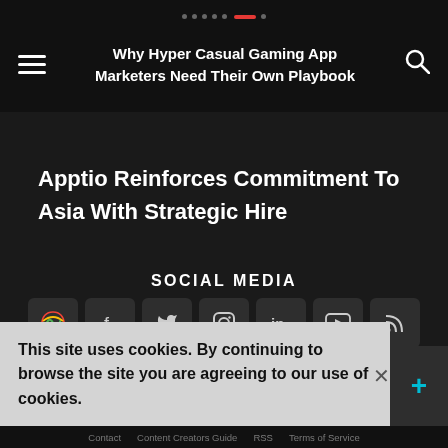Why Hyper Casual Gaming App Marketers Need Their Own Playbook
Apptio Reinforces Commitment To Asia With Strategic Hire
SOCIAL MEDIA
Subscribe here to get interesting stuff and updates!
Email Address
Subscribe
This site uses cookies. By continuing to browse the site you are agreeing to our use of cookies.
Contact   Content Creators Guide   RSS   Terms of Service